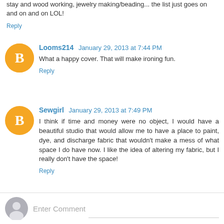stay and wood working, jewelry making/beading... the list just goes on and on and on LOL!
Reply
Looms214  January 29, 2013 at 7:44 PM
What a happy cover. That will make ironing fun.
Reply
Sewgirl  January 29, 2013 at 7:49 PM
I think if time and money were no object, I would have a beautiful studio that would allow me to have a place to paint, dye, and discharge fabric that wouldn't make a mess of what space I do have now. I like the idea of altering my fabric, but I really don't have the space!
Reply
Enter Comment